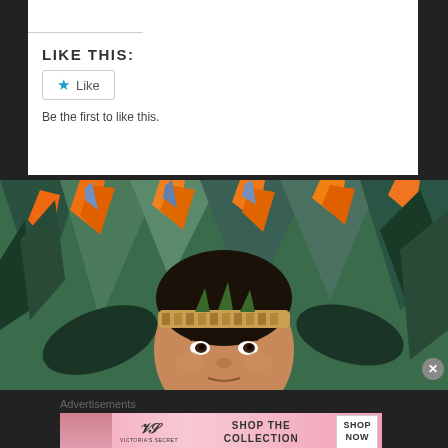LIKE THIS:
Like
Be the first to like this.
[Figure (photo): Man wearing a traditional woven headband/crown decorated with Bird of Paradise flowers (orange and green tropical flowers), surrounded by lush tropical foliage. Close-up portrait photo.]
Advertisements
[Figure (other): Victoria's Secret advertisement banner with pink gradient background, model on left, VS logo, text 'SHOP THE COLLECTION' and a 'SHOP NOW' button.]